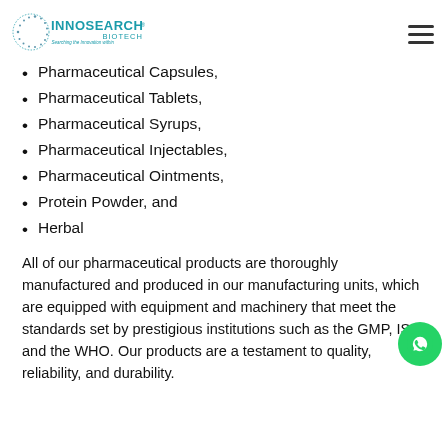INNOSEARCH BIOTECH — Searching the Innovation within
Pharmaceutical Capsules,
Pharmaceutical Tablets,
Pharmaceutical Syrups,
Pharmaceutical Injectables,
Pharmaceutical Ointments,
Protein Powder, and
Herbal
All of our pharmaceutical products are thoroughly manufactured and produced in our manufacturing units, which are equipped with equipment and machinery that meet the standards set by prestigious institutions such as the GMP, ISO, and the WHO. Our products are a testament to quality, reliability, and durability.